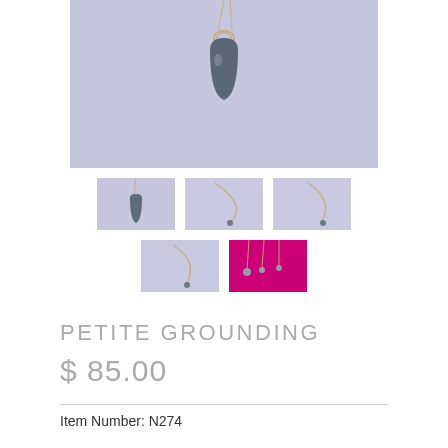[Figure (photo): Main product photo showing a dark teardrop-shaped gemstone pendant on a gold chain, against a lavender/periwinkle background]
[Figure (photo): Thumbnail 1: small dark pendant on lavender background]
[Figure (photo): Thumbnail 2: necklace chain detail on lavender background]
[Figure (photo): Thumbnail 3: necklace chain detail on lavender background]
[Figure (photo): Thumbnail 4: necklace on lavender background]
[Figure (photo): Thumbnail 5: multiple necklaces on bright pink/magenta fabric]
PETITE GROUNDING
$ 85.00
Item Number: N274